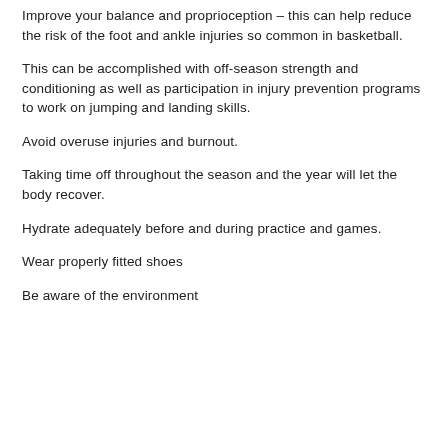Improve your balance and proprioception – this can help reduce the risk of the foot and ankle injuries so common in basketball.
This can be accomplished with off-season strength and conditioning as well as participation in injury prevention programs to work on jumping and landing skills.
Avoid overuse injuries and burnout.
Taking time off throughout the season and the year will let the body recover.
Hydrate adequately before and during practice and games.
Wear properly fitted shoes
Be aware of the environment